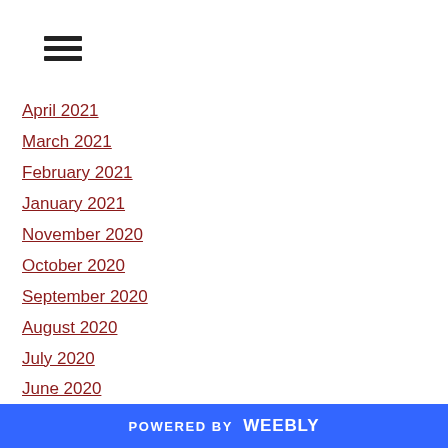[Figure (other): Hamburger menu icon with three horizontal bars]
April 2021
March 2021
February 2021
January 2021
November 2020
October 2020
September 2020
August 2020
July 2020
June 2020
November 2019
September 2019
August 2019
July 2019
June 2019
POWERED BY weebly